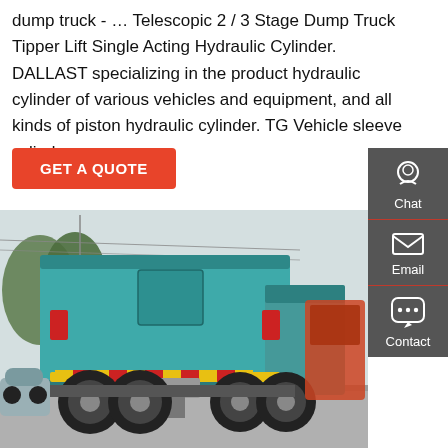dump truck - … Telescopic 2 / 3 Stage Dump Truck Tipper Lift Single Acting Hydraulic Cylinder. DALLAST specializing in the product hydraulic cylinder of various vehicles and equipment, and all kinds of piston hydraulic cylinder. TG Vehicle sleeve cylinder …
[Figure (other): Red 'GET A QUOTE' button]
[Figure (other): Sidebar with Chat, Email, Contact icons on dark grey background]
[Figure (photo): Rear view of a teal/turquoise dump truck in a parking area with trees in background and other vehicles visible]